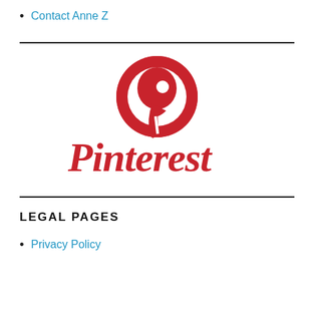Contact Anne Z
[Figure (logo): Pinterest logo — red circle with white 'P' pin icon above the word 'Pinterest' in red script lettering]
LEGAL PAGES
Privacy Policy